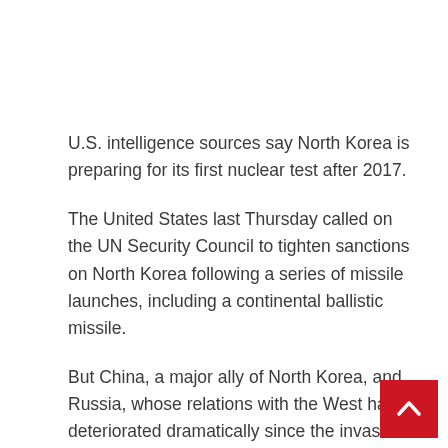U.S. intelligence sources say North Korea is preparing for its first nuclear test after 2017.
The United States last Thursday called on the UN Security Council to tighten sanctions on North Korea following a series of missile launches, including a continental ballistic missile.
But China, a major ally of North Korea, and Russia, whose relations with the West have deteriorated dramatically since the invasion of Ukraine, have vetoed that tougher sanctions would not only increase tensions but also cause negative productivity.